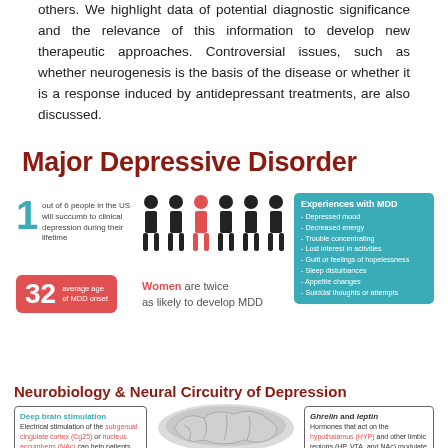others. We highlight data of potential diagnostic significance and the relevance of this information to develop new therapeutic approaches. Controversial issues, such as whether neurogenesis is the basis of the disease or whether it is a response induced by antidepressant treatments, are also discussed.
Major Depressive Disorder
[Figure (infographic): Infographic about Major Depressive Disorder statistics: 1 out of 6 people in the US will succumb to clinical depression during their lifetime; 6 person icons with one highlighted in red; teal box listing Experiences with MDD symptoms; 32 average age of MDD onset badge; Women are twice as likely to develop MDD text]
Neurobiology & Neural Circuitry of Depression
[Figure (infographic): Brain infographic: left box about Deep brain stimulation of subgenual cingulate cortex (Cg25) or nucleus accumbens (NAc); brain illustration in center; right box about Ghrelin and leptin hormones acting on hypothalamus (HYP) and other limbic regions (HP, VTA, and NAc) to modulate mood.]